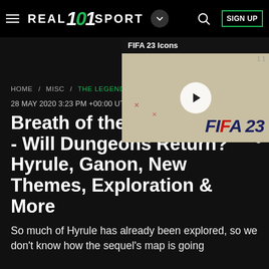REALSPORT101 — navigation bar with hamburger menu, logo, dropdown, search, and SIGN UP
[Figure (screenshot): Video widget showing FIFA 23 Icons thumbnail with play button overlay]
HOME / MISC / THE LEGEND OF ZELDA
28 MAY 2020 3:23 PM +00:00 UTC
Breath of the Wild 2: Map - Will Dungeons Return? Hyrule, Ganon, New Themes, Exploration & More
So much of Hyrule has already been explored, so we don't know how the sequel's map is going